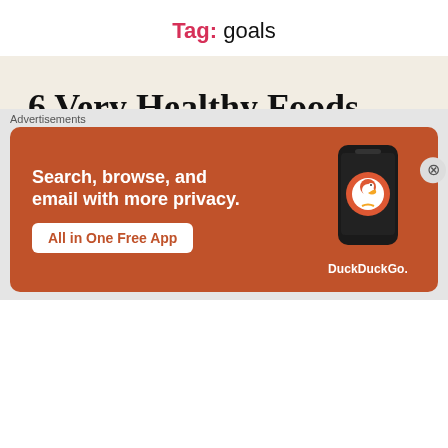Tag: goals
6 Very Healthy Foods You Should be Eating Regularly
No Comments   Sticky post
Most trendy diets share a list of off-limit foods, which
[Figure (screenshot): DuckDuckGo advertisement banner: 'Search, browse, and email with more privacy. All in One Free App' with a phone graphic and DuckDuckGo logo.]